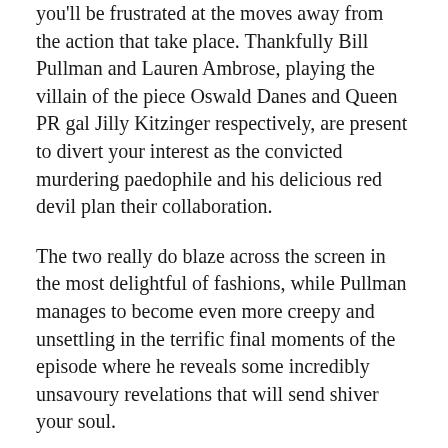you'll be frustrated at the moves away from the action that take place. Thankfully Bill Pullman and Lauren Ambrose, playing the villain of the piece Oswald Danes and Queen PR gal Jilly Kitzinger respectively, are present to divert your interest as the convicted murdering paedophile and his delicious red devil plan their collaboration.
The two really do blaze across the screen in the most delightful of fashions, while Pullman manages to become even more creepy and unsettling in the terrific final moments of the episode where he reveals some incredibly unsavoury revelations that will send shiver your soul.
But the main problem here is the endless bang-over-the-head moments of exposition and linguistic nuances. There's much made, in a comical fashion it has to be said, of the differences between the "languages" of the US and the UK (mobiles/cellphones, crisps/chips, cash